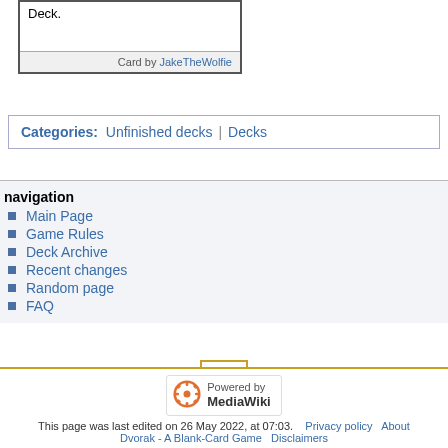Deck.
Card by JakeTheWolfie
Categories: Unfinished decks | Decks
navigation
Main Page
Game Rules
Deck Archive
Recent changes
Random page
FAQ
[Figure (other): Scroll to top button with upward triangle arrow, yellow border]
[Figure (logo): Powered by MediaWiki badge with gear/flower icon]
This page was last edited on 26 May 2022, at 07:03.   Privacy policy   About Dvorak - A Blank-Card Game   Disclaimers